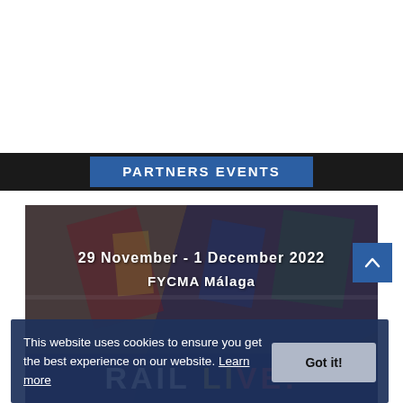PARTNERS EVENTS
[Figure (photo): Railway/transit event image with overlaid text showing date '29 November - 1 December 2022', venue 'FYCMA Málaga', and 'RAIL LIVE!' branding at the bottom.]
This website uses cookies to ensure you get the best experience on our website. Learn more
Got it!